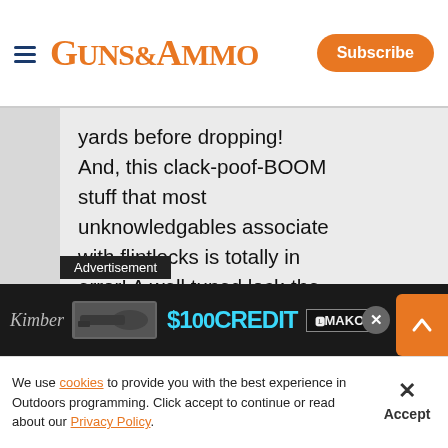Guns & Ammo — Subscribe
yards before dropping! And, this clack-poof-BOOM stuff that most unknowledgables associate with flintlocks is totally in error! A well tuned lock-the heart and soul of a flintlock-will ignite the charge BEFORE the flint is 1/3rd the way down the frizzen!
[Figure (other): Advertisement banner: $100 CREDIT @MAKO with Kimber branding and firearm image]
We use cookies to provide you with the best experience in Outdoors programming. Click accept to continue or read about our Privacy Policy.